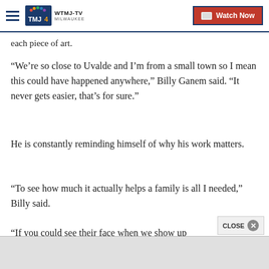WTMJ-TV MILWAUKEE | Watch Now
each piece of art.
“We’re so close to Uvalde and I’m from a small town so I mean this could have happened anywhere,” Billy Ganem said. "It never gets easier, that’s for sure.”
He is constantly reminding himself of why his work matters.
“To see how much it actually helps a family is all I needed,” Billy said.
“If you could see their face when we show up with